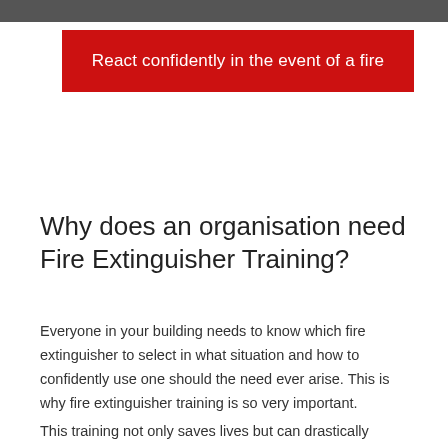React confidently in the event of a fire
Why does an organisation need Fire Extinguisher Training?
Everyone in your building needs to know which fire extinguisher to select in what situation and how to confidently use one should the need ever arise. This is why fire extinguisher training is so very important.
This training not only saves lives but can drastically